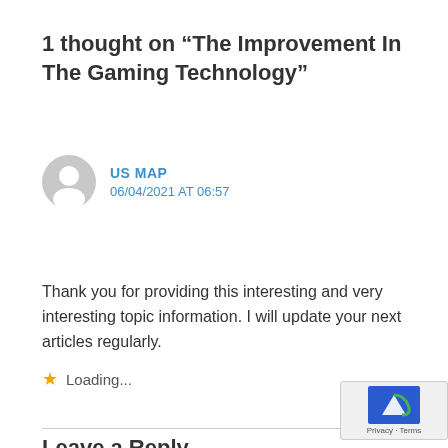1 thought on “The Improvement In The Gaming Technology”
[Figure (illustration): Grey circular user avatar icon]
US MAP
06/04/2021 AT 06:57
Thank you for providing this interesting and very interesting topic information. I will update your next articles regularly.
★ Loading...
Reply
Leave a Reply